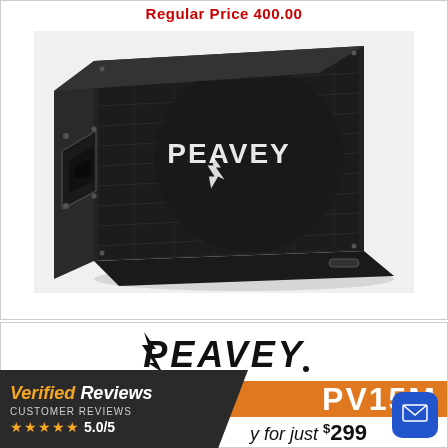Regular Price 400.00
[Figure (photo): Peavey floor monitor speaker cabinet, angled wedge design with black carpet covering, metal grille with Peavey logo, and horn tweeter on the left side]
[Figure (logo): Peavey logo in black stylized lightning-bolt lettering]
PV15M
Buy for just $299
Regular Price $599.99!
Verified Reviews
CUSTOMER REVIEWS
★★★★★ 5.0/5